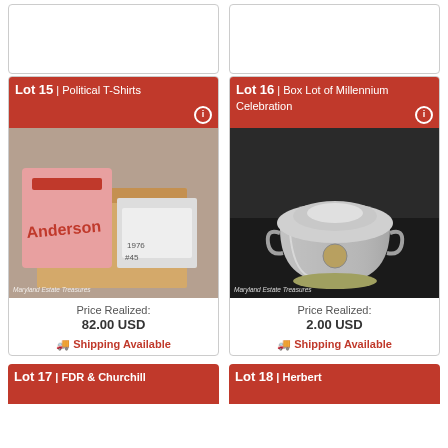[Figure (photo): Top-left stub card (partial, cut off at top)]
[Figure (photo): Top-right stub card (partial, cut off at top)]
Lot 15 | Political T-Shirts
[Figure (photo): Box of political T-shirts with 'Anderson' pink shirt and white shirts. Watermark: Maryland Estate Treasures]
Price Realized: 82.00 USD
Shipping Available
Lot 16 | Box Lot of Millennium Celebration
[Figure (photo): Silver ice bucket with lid and handles on dark table. Watermark: Maryland Estate Treasures]
Price Realized: 2.00 USD
Shipping Available
Lot 17 | FDR & Churchill
Lot 18 | Herbert